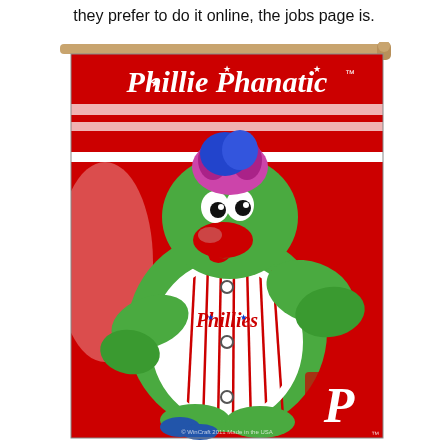they prefer to do it online, the jobs page is.
[Figure (photo): A Phillie Phanatic banner/flag showing the Philadelphia Phillies mascot — a large green furry creature wearing a Phillies pinstripe uniform — against a red and white striped background. The banner has 'Phillie Phanatic' in white script at the top and the Phillies 'P' logo at the bottom right. The flag is hung on a wooden pole.]